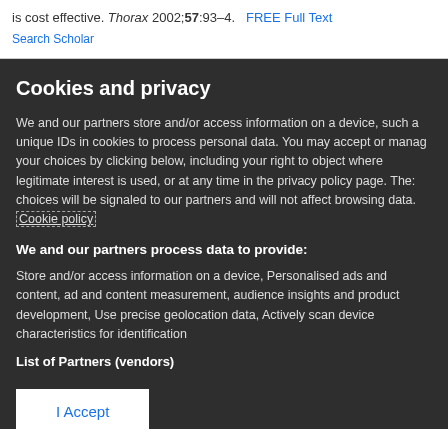is cost effective. Thorax 2002;57:93–4.   FREE Full Text
Cookies and privacy
We and our partners store and/or access information on a device, such a unique IDs in cookies to process personal data. You may accept or manage your choices by clicking below, including your right to object where legitimate interest is used, or at any time in the privacy policy page. These choices will be signaled to our partners and will not affect browsing data. Cookie policy
We and our partners process data to provide:
Store and/or access information on a device, Personalised ads and content, ad and content measurement, audience insights and product development, Use precise geolocation data, Actively scan device characteristics for identification
List of Partners (vendors)
I Accept